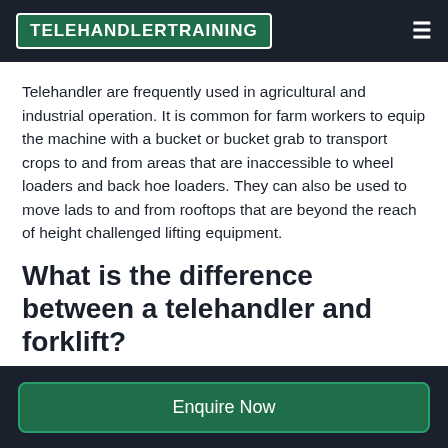TELEHANDLERTRAINING
Telehandler are frequently used in agricultural and industrial operation. It is common for farm workers to equip the machine with a bucket or bucket grab to transport crops to and from areas that are inaccessible to wheel loaders and back hoe loaders. They can also be used to move lads to and from rooftops that are beyond the reach of height challenged lifting equipment.
What is the difference between a telehandler and forklift?
Enquire Now